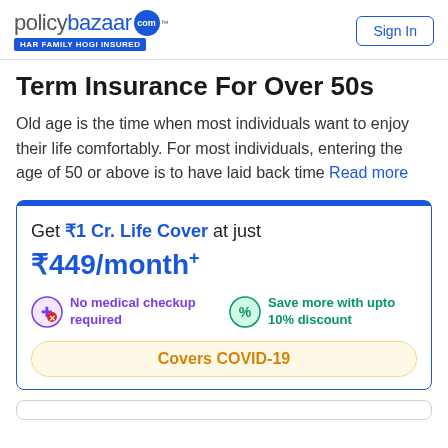[Figure (logo): Policybazaar logo with tagline HAR FAMILY HOGI INSURED and Sign In button]
Term Insurance For Over 50s
Old age is the time when most individuals want to enjoy their life comfortably. For most individuals, entering the age of 50 or above is to have laid back time Read more
Get ₹1 Cr. Life Cover at just
₹449/month+
No medical checkup required
Save more with upto 10% discount
Covers COVID-19